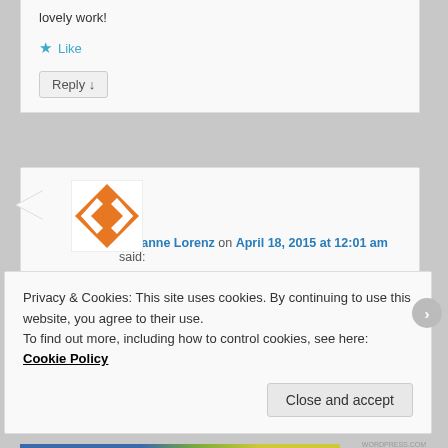lovely work!
★ Like
Reply ↓
[Figure (illustration): Orange and white geometric avatar/logo for Suzanne Lorenz]
Suzanne Lorenz on April 18, 2015 at 12:01 am said:
This issue was particularly wonderful, thanks to all who created these lovely works.
Privacy & Cookies: This site uses cookies. By continuing to use this website, you agree to their use.
To find out more, including how to control cookies, see here: Cookie Policy
Close and accept